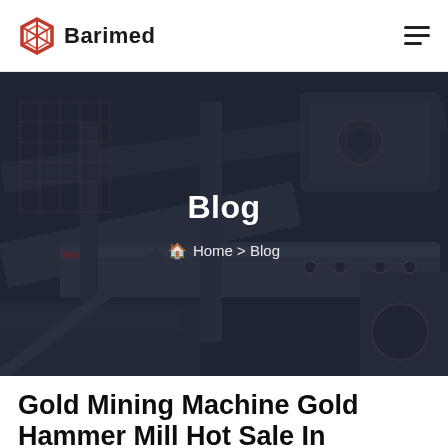Barimed
[Figure (photo): Dark industrial machinery (mining equipment) used as hero banner background with dark overlay]
Blog
Home > Blog
Gold Mining Machine Gold Hammer Mill Hot Sale In